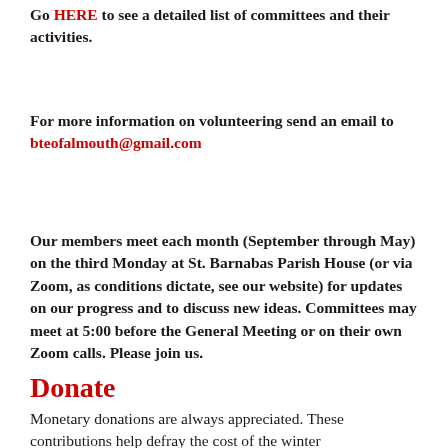Go HERE to see a detailed list of committees and their activities.
For more information on volunteering send an email to bteofalmouth@gmail.com
Our members meet each month (September through May) on the third Monday at St. Barnabas Parish House (or via Zoom, as conditions dictate, see our website) for updates on our progress and to discuss new ideas. Committees may meet at 5:00 before the General Meeting or on their own Zoom calls. Please join us.
Donate
Monetary donations are always appreciated. These contributions help defray the cost of the winter